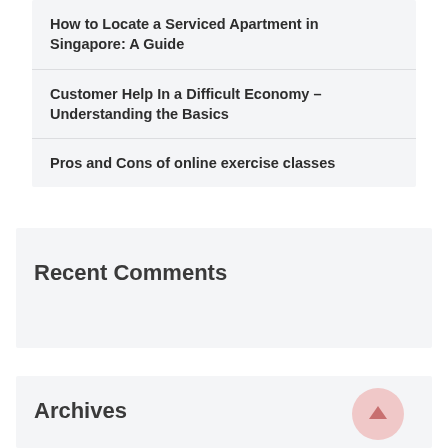How to Locate a Serviced Apartment in Singapore: A Guide
Customer Help In a Difficult Economy – Understanding the Basics
Pros and Cons of online exercise classes
Recent Comments
Archives